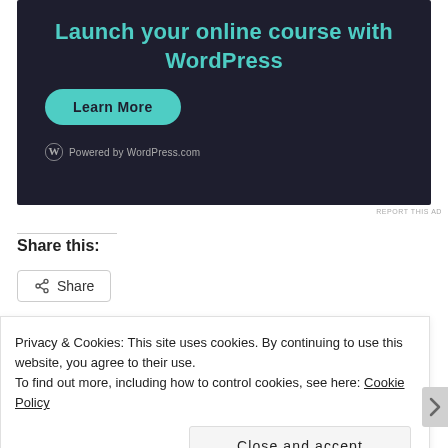[Figure (screenshot): Dark-themed WordPress.com advertisement banner with teal heading 'Launch your online course with WordPress', a teal 'Learn More' button, and 'Powered by WordPress.com' text at the bottom left.]
REPORT THIS AD
Share this:
Share
Privacy & Cookies: This site uses cookies. By continuing to use this website, you agree to their use.
To find out more, including how to control cookies, see here: Cookie Policy
Close and accept